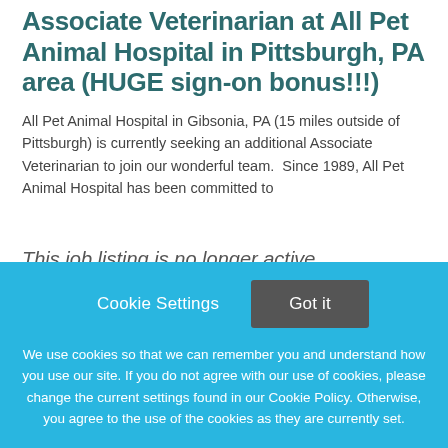Associate Veterinarian at All Pet Animal Hospital in Pittsburgh, PA area (HUGE sign-on bonus!!!)
All Pet Animal Hospital in Gibsonia, PA (15 miles outside of Pittsburgh) is currently seeking an additional Associate Veterinarian to join our wonderful team.  Since 1989, All Pet Animal Hospital has been committed to
This job listing is no longer active.
Cookie Settings   Got it

We use cookies so that we can remember you and understand how you use our site. If you do not agree with our use of cookies, please change the current settings found in our Cookie Policy. Otherwise, you agree to the use of the cookies as they are currently set.